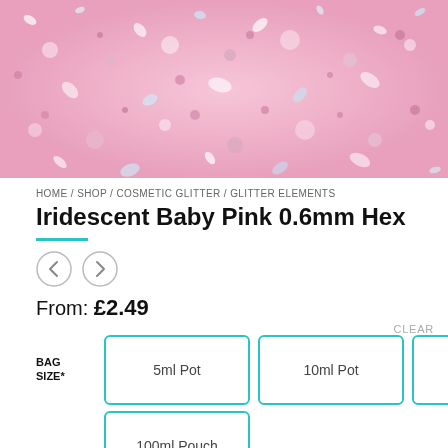[Figure (photo): Close-up photo of iridescent baby pink glitter with hexagonal shapes, pink and white sparkles on a textured surface.]
HOME / SHOP / COSMETIC GLITTER / GLITTER ELEMENTS
Iridescent Baby Pink 0.6mm Hex
From: £2.49
CLEAR
BAG SIZE*
5ml Pot
10ml Pot
20ml Pot
100ml Pouch